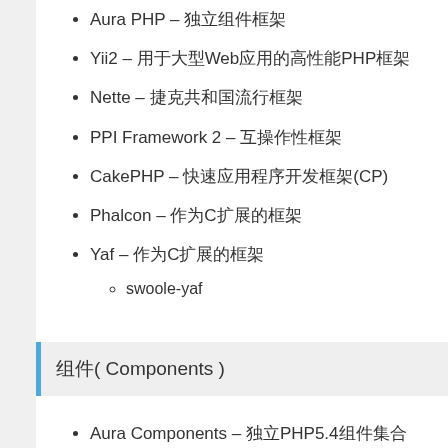Aura PHP – 独立组件框架
Yii2 – 用于大型Web应用的高性能PHP框架
Nette – 捷克共和国流行框架
PPI Framework 2 – 互操作性框架
CakePHP – 快速应用程序开发框架(CP)
Phalcon – 作为C扩展的框架
Yaf – 作为C扩展的框架
swoole-yaf
组件( Components )
Aura Components – 独立PHP5.4组件集合
Hoa Project – 模块化PHP框架
微框架( Micro Frameworks )
微框架和路由